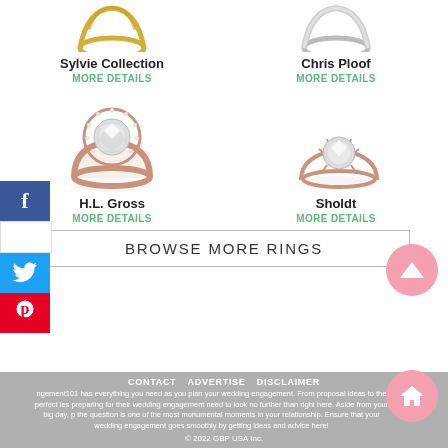[Figure (photo): Sylvie Collection ring - partial view at top, gold twist band]
Sylvie Collection
MORE DETAILS
[Figure (photo): Chris Ploof ring - partial view at top, silver/platinum band]
Chris Ploof
MORE DETAILS
[Figure (photo): H.L. Gross ring - rose gold halo engagement ring with round diamond center]
H.L. Gross
MORE DETAILS
[Figure (photo): Sholdt ring - rose gold simple solitaire engagement ring]
Sholdt
MORE DETAILS
BROWSE MORE RINGS
CONTACT   ADVERTISE   DISCLAIMER
ngement101 has everything you need as you plan your wedding engagement. From proposal ideas to the perfect les preparing for their wedding engagement need to look no further than right here. Aside from your big day, p the question is one of the most monumental moments in your relationship. Ensure that your wedding engagement goes smoothly by getting ideas and advice here!
© 2022 GBP USA Inc.